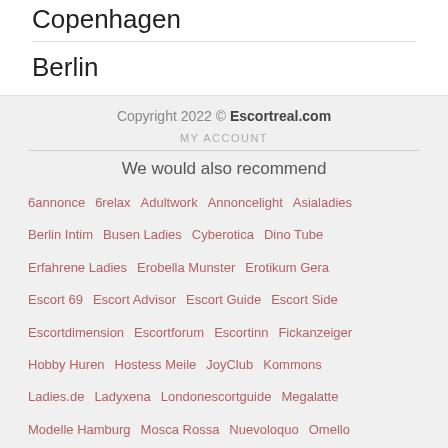Copenhagen
Berlin
Copyright 2022 © Escortreal.com
MY ACCOUNT
We would also recommend
6annonce   6relax   Adultwork   Annoncelight   Asialadies
Berlin Intim   Busen Ladies   Cyberotica   Dino Tube
Erfahrene Ladies   Erobella Munster   Erotikum Gera
Escort 69   Escort Advisor   Escort Guide   Escort Side
Escortdimension   Escortforum   Escortinn   Fickanzeiger
Hobby Huren   Hostess Meile   JoyClub   Kommons
Ladies.de   Ladyxena   Londonescortguide   Megalatte
Modelle Hamburg   Mosca Rossa   Nuevoloquo   Omello